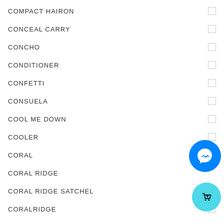COMPACT HAIRON
CONCEAL CARRY
CONCHO
CONDITIONER
CONFETTI
CONSUELA
COOL ME DOWN
COOLER
CORAL
CORAL RIDGE
CORAL RIDGE SATCHEL
CORALRIDGE
CORKCICLE
COSMETIC